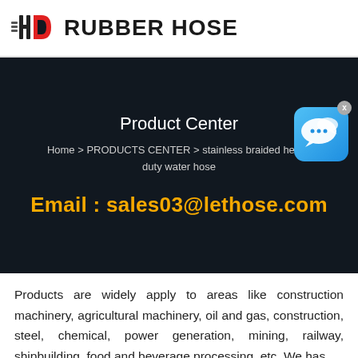HD RUBBER HOSE
Product Center
Home > PRODUCTS CENTER > stainless braided heavy duty water hose
Email : sales03@lethose.com
[Figure (other): Blue chat bubble icon with speech bubbles, with close X button]
Products are widely apply to areas like construction machinery, agricultural machinery, oil and gas, construction, steel, chemical, power generation, mining, railway, shipbuilding, food and beverage processing, etc. We has